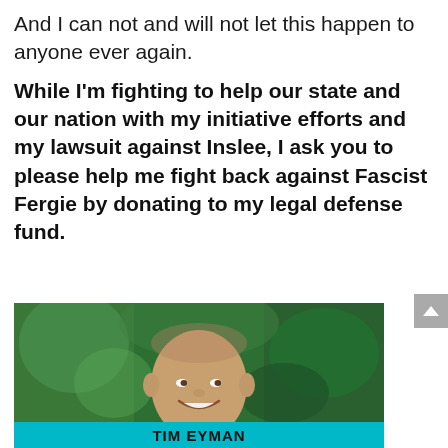And I can not and will not let this happen to anyone ever again.
While I'm fighting to help our state and our nation with my initiative efforts and my lawsuit against Inslee, I ask you to please help me fight back against Fascist Fergie by donating to my legal defense fund.
[Figure (photo): Portrait photo of Tim Eyman, a bald/shaved-head man smiling, wearing a collared shirt, with green foliage background. A teal banner at the bottom reads TIM EYMAN.]